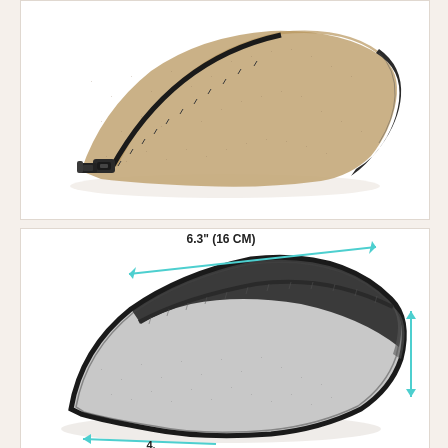[Figure (photo): A tan/beige felt pencil case or small bag with a black zipper along the top edge and black leather trim on the right side. The case has a triangular/wedge shape when viewed from the side. It is photographed on a white background.]
[Figure (photo): A grey two-tone felt pencil case or pouch shown from above at an angle, with dimension annotations. A teal/cyan diagonal line indicates the length labeled '6.3" (16 CM)'. Another teal line on the right side indicates a dimension partially visible labeled '(12 CM)'. The case has dark charcoal grey on top and light grey on the bottom, with black leather zipper trim.]